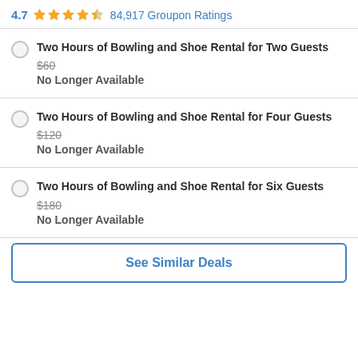4.7 ★★★★☆ 84,917 Groupon Ratings
Two Hours of Bowling and Shoe Rental for Two Guests
$60
No Longer Available
Two Hours of Bowling and Shoe Rental for Four Guests
$120
No Longer Available
Two Hours of Bowling and Shoe Rental for Six Guests
$180
No Longer Available
See Similar Deals